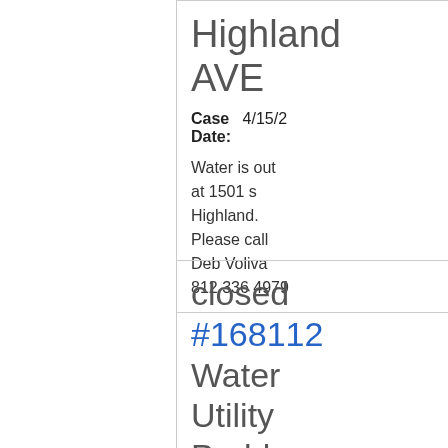Highland AVE
Case Date: 4/15/2...
Water is out at 1501 s Highland. Please call Deb Voliva 812 336 4979
closed #168112 Water Utility Problems 1726 E Thornton